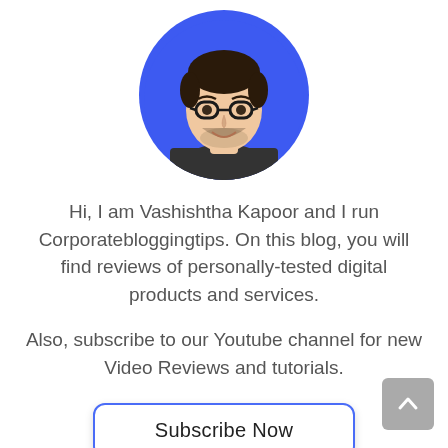[Figure (illustration): Circular profile photo of a young man with glasses and a beard, wearing a dark t-shirt, on a blue background circle]
Hi, I am Vashishtha Kapoor and I run Corporatebloggingtips. On this blog, you will find reviews of personally-tested digital products and services.
Also, subscribe to our Youtube channel for new Video Reviews and tutorials.
Subscribe Now